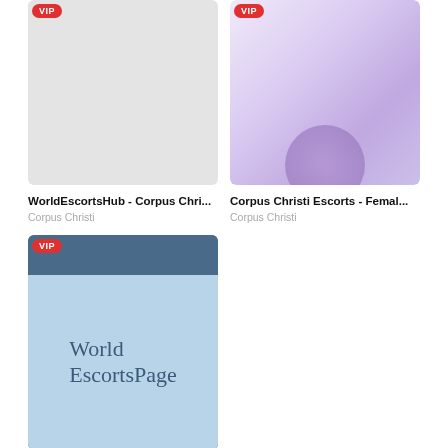[Figure (photo): Gray placeholder card image with VIP badge, top-left listing]
[Figure (photo): Purple/lavender gradient card image with VIP badge and partial purple circle, top-right listing]
WorldEscortsHub - Corpus Chri...
Corpus Christi
Corpus Christi Escorts - Femal...
Corpus Christi
[Figure (logo): WorldEscortsPage logo card with blue-gray top bar and light blue body showing World EscortsPage text, VIP badge]
WorldEscortsPage: The Best E...
Corpus Christi